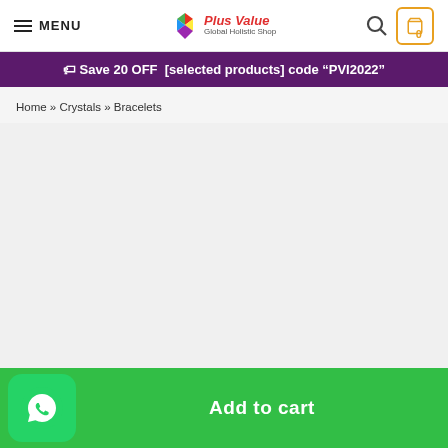MENU | Plus Value Global Holistic Shop | Search | Cart 0
🏷 Save 20 OFF  [selected products] code "PVI2022"
Home » Crystals » Bracelets
Add to cart